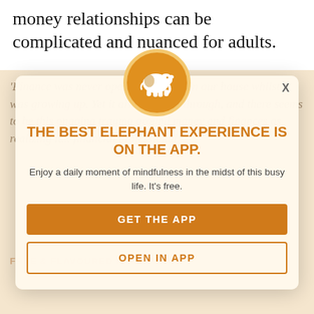Money relationships can be complicated and nuanced for adults.
'Finance was never openly discussed in our house whilst I was growing up. Yet it always seeps through, and there seems to be this ongoing trauma around money and finances... as realizing it... financial professional.'
THE BEST ELEPHANT EXPERIENCE IS ON THE APP.
Enjoy a daily moment of mindfulness in the midst of this busy life. It's free.
GET THE APP
OPEN IN APP